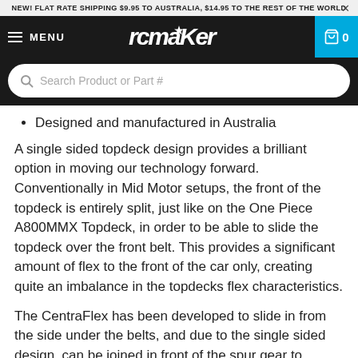NEW! FLAT RATE SHIPPING $9.95 TO AUSTRALIA, $14.95 TO THE REST OF THE WORLD
MENU | RCMAKER | 0
Search Product or Part #
Designed and manufactured in Australia
A single sided topdeck design provides a brilliant option in moving our technology forward. Conventionally in Mid Motor setups, the front of the topdeck is entirely split, just like on the One Piece A800MMX Topdeck, in order to be able to slide the topdeck over the front belt. This provides a significant amount of flex to the front of the car only, creating quite an imbalance in the topdecks flex characteristics.
The CentraFlex has been developed to slide in from the side under the belts, and due to the single sided design, can be joined in front of the spur gear to prevent excessive